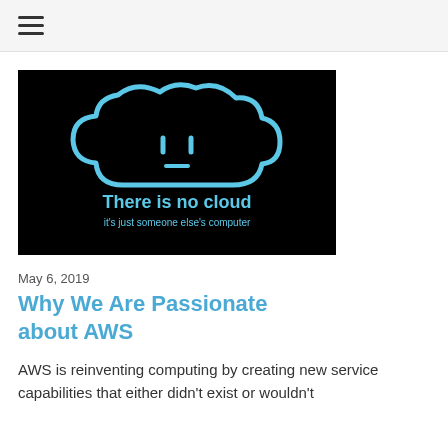≡
[Figure (illustration): Black background image with a sad-face cloud icon drawn in light blue outline. Text below the cloud reads 'There is no cloud' in bold light blue, and below that 'it's just someone else's computer' in smaller light blue text.]
May 6, 2019
Why We Are Passionate about AWS
AWS is reinventing computing by creating new service capabilities that either didn't exist or wouldn't